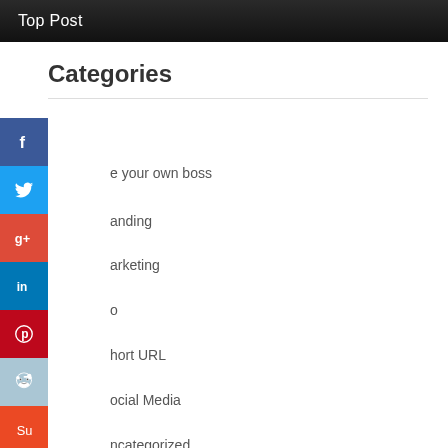Top Post
Categories
Be your own boss
Branding
Marketing
Seo
Short URL
Social Media
Uncategorized
Web hosting